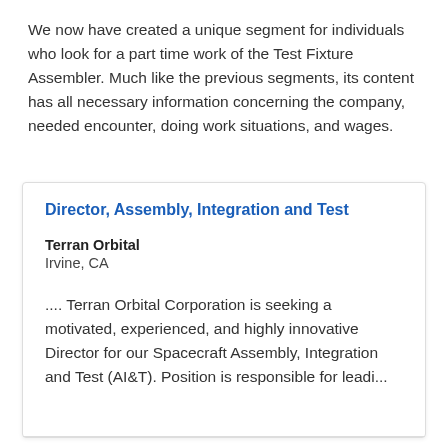We now have created a unique segment for individuals who look for a part time work of the Test Fixture Assembler. Much like the previous segments, its content has all necessary information concerning the company, needed encounter, doing work situations, and wages.
Director, Assembly, Integration and Test
Terran Orbital
Irvine, CA
.... Terran Orbital Corporation is seeking a motivated, experienced, and highly innovative Director for our Spacecraft Assembly, Integration and Test (AI&T). Position is responsible for leadi...